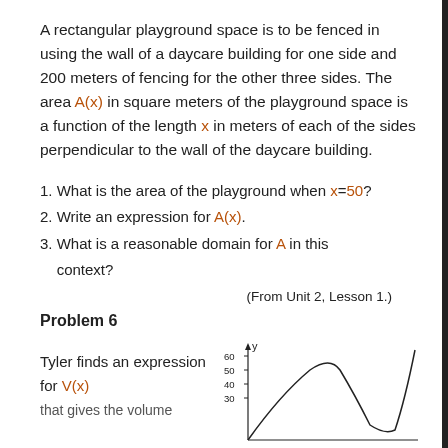A rectangular playground space is to be fenced in using the wall of a daycare building for one side and 200 meters of fencing for the other three sides. The area A(x) in square meters of the playground space is a function of the length x in meters of each of the sides perpendicular to the wall of the daycare building.
1. What is the area of the playground when x=50?
2. Write an expression for A(x).
3. What is a reasonable domain for A in this context?
(From Unit 2, Lesson 1.)
Problem 6
Tyler finds an expression for V(x) that gives the volume...
[Figure (continuous-plot): A graph with y-axis labeled up to 60 (with ticks at 30, 40, 50, 60) showing a curve that rises to a peak around y=50 then descends, and rises again sharply at the right edge. x-axis visible at bottom.]